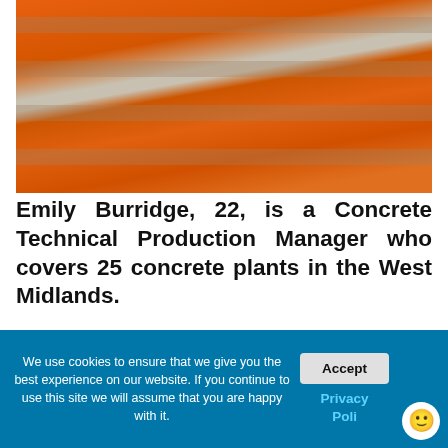[Figure (photo): Person wearing an orange high-visibility safety jacket/vest with reflective grey stripes, viewed from the torso up, outdoor construction site background.]
Emily Burridge, 22, is a Concrete Technical Production Manager who covers 25 concrete plants in the West Midlands.
Emily is one of only four females to go through the Hanson LEAD programme, which she joined three years ago.
We use cookies to ensure that we give you the best experience on our website. If you continue to use this site we will assume that you are happy with it.
Accept
Privacy Poli